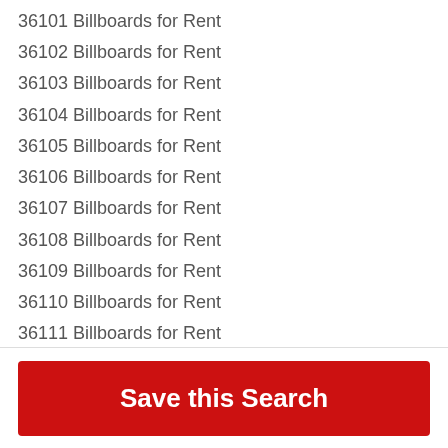36101 Billboards for Rent
36102 Billboards for Rent
36103 Billboards for Rent
36104 Billboards for Rent
36105 Billboards for Rent
36106 Billboards for Rent
36107 Billboards for Rent
36108 Billboards for Rent
36109 Billboards for Rent
36110 Billboards for Rent
36111 Billboards for Rent
36112 Billboards for Rent
36113 Billboards for Rent
36114 Billboards for Rent
36115 Billboards for Rent
Save this Search